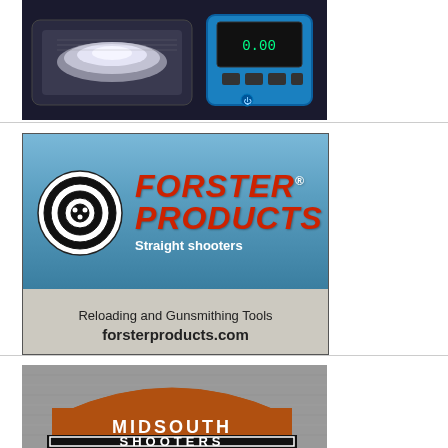[Figure (photo): Top portion of advertisement showing electronic precision scale/digital scale on dark background]
[Figure (illustration): Forster Products advertisement with target bullseye logo, red italic text 'FORSTER PRODUCTS®', tagline 'Straight shooters', and bottom section 'Reloading and Gunsmithing Tools' and 'forsterproducts.com' on gray background]
[Figure (logo): Midsouth Shooters Supply advertisement showing brand name on gray textured background]